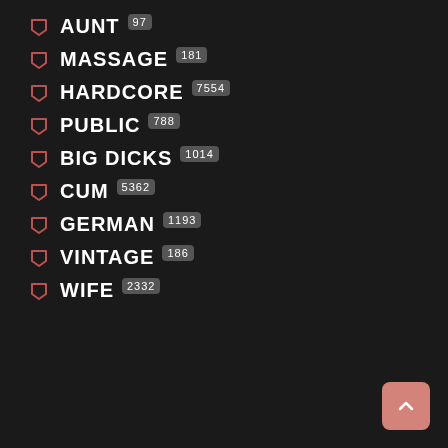AUNT 97
MASSAGE 181
HARDCORE 7554
PUBLIC 788
BIG DICKS 1014
CUM 5362
GERMAN 1193
VINTAGE 186
WIFE 2332